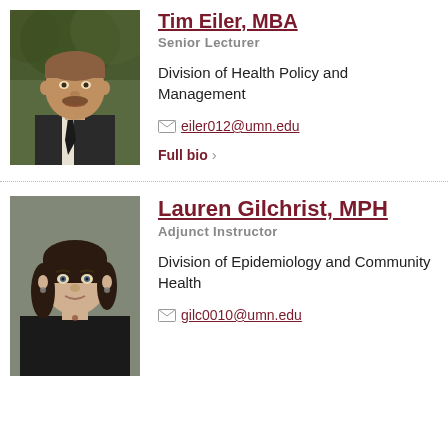[Figure (photo): Headshot of Tim Eiler, middle-aged man with mustache in dark suit and tie, outdoor background with leaves]
Tim Eiler, MBA
Senior Lecturer
Division of Health Policy and Management
eiler012@umn.edu
Full bio
[Figure (photo): Headshot of Lauren Gilchrist, woman with dark hair in black blazer, indoor background]
Lauren Gilchrist, MPH
Adjunct Instructor
Division of Epidemiology and Community Health
gilc0010@umn.edu